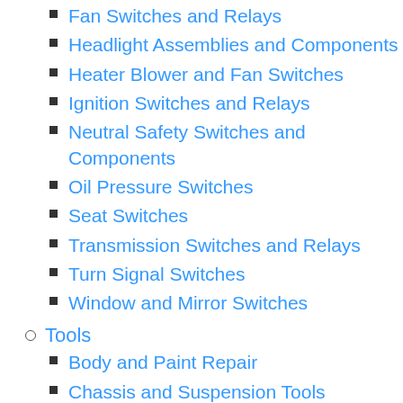Fan Switches and Relays
Headlight Assemblies and Components
Heater Blower and Fan Switches
Ignition Switches and Relays
Neutral Safety Switches and Components
Oil Pressure Switches
Seat Switches
Transmission Switches and Relays
Turn Signal Switches
Window and Mirror Switches
Tools
Body and Paint Repair
Chassis and Suspension Tools
Electrical System Tools
Engine Tools
Funnels
Hand Tools
Interior Tools
Steering System Tools (partial)